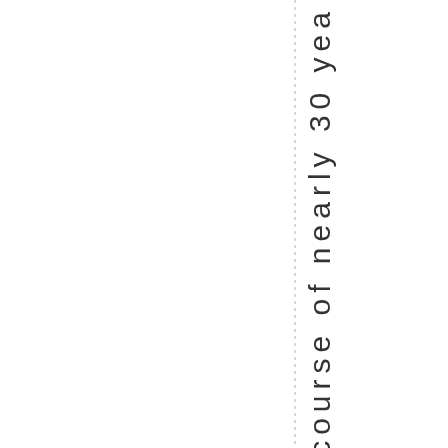er. Over the course of nearly 30 yea